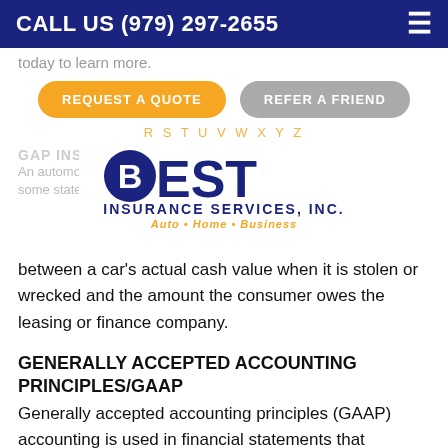CALL US (979) 297-2655
[Figure (other): REQUEST A QUOTE and REFER A FRIEND buttons]
R S T U V W X Y Z
[Figure (logo): Best Insurance Services, Inc. logo with tagline Auto • Home • Business]
An automobile insurance option available in some states, that covers the difference between a car's actual cash value when it is stolen or wrecked and the amount the consumer owes the leasing or finance company.
GENERALLY ACCEPTED ACCOUNTING PRINCIPLES/GAAP
Generally accepted accounting principles (GAAP) accounting is used in financial statements that publicly-held companies prepare for the Securities and Exchange Commission.